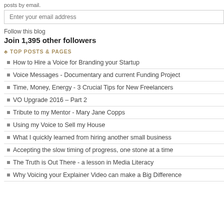posts by email.
Enter your email address
Follow this blog
Join 1,395 other followers
TOP POSTS & PAGES
How to Hire a Voice for Branding your Startup
Voice Messages - Documentary and current Funding Project
Time, Money, Energy - 3 Crucial Tips for New Freelancers
VO Upgrade 2016 – Part 2
Tribute to my Mentor - Mary Jane Copps
Using my Voice to Sell my House
What I quickly learned from hiring another small business
Accepting the slow timing of progress, one stone at a time
The Truth is Out There - a lesson in Media Literacy
Why Voicing your Explainer Video can make a Big Difference